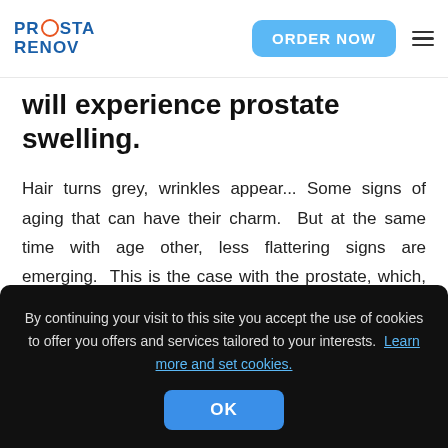PROSTA RENOV | ORDER NOW
will experience prostate swelling.
Hair turns grey, wrinkles appear... Some signs of aging that can have their charm. But at the same time with age other, less flattering signs are emerging. This is the case with the prostate, which, after 45 years of age, begins to grow. This age-related phenomenon is entirely
By continuing your visit to this site you accept the use of cookies to offer you offers and services tailored to your interests. Learn more and set cookies. OK